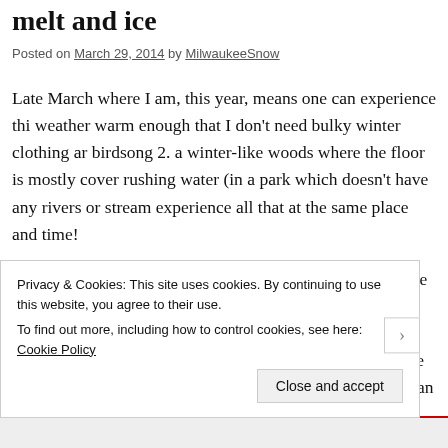melt and ice
Posted on March 29, 2014 by MilwaukeeSnow
Late March where I am, this year, means one can experience this weather warm enough that I don't need bulky winter clothing and birdsong 2. a winter-like woods where the floor is mostly covered rushing water (in a park which doesn't have any rivers or streams) experience all that at the same place and time!
I'm not quite sure what to call this time of year. Most of the snow easily above freezing, so it doesn't feel like Winter. I'd call it Spring might not think that qualifies either; little new plant growth yet. the late stages of a long melt; perhaps we could call this 'de-win when the snow goes away and we can again see what it covered no
Privacy & Cookies: This site uses cookies. By continuing to use this website, you agree to their use.
To find out more, including how to control cookies, see here: Cookie Policy
Close and accept